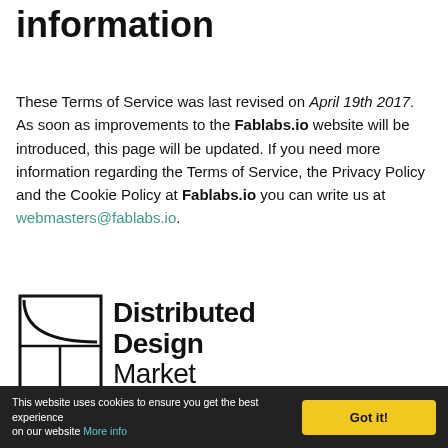information
These Terms of Service was last revised on April 19th 2017. As soon as improvements to the Fablabs.io website will be introduced, this page will be updated. If you need more information regarding the Terms of Service, the Privacy Policy and the Cookie Policy at Fablabs.io you can write us at webmasters@fablabs.io.
[Figure (logo): Distributed Design Market logo — geometric square icon with a quarter-circle arc, beside bold text reading 'Distributed Design Market']
This website uses cookies to ensure you get the best experience on our website More info | Got it!